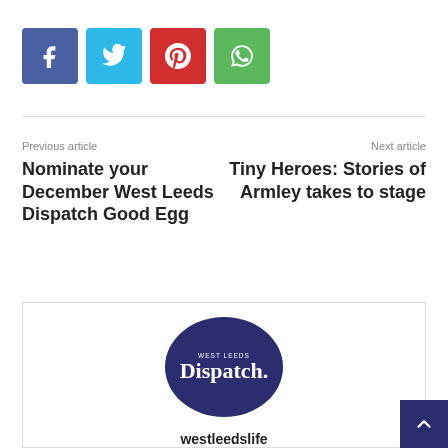[Figure (infographic): Four social share buttons: Facebook (blue-purple), Twitter (light blue), Pinterest (red), WhatsApp (green), each as rounded square icons with white symbols.]
Previous article
Nominate your December West Leeds Dispatch Good Egg
Next article
Tiny Heroes: Stories of Armley takes to stage
[Figure (logo): West Leeds Dispatch circular logo on dark navy background with text 'WEST LEEDS Dispatch.' in white, inside a dark navy circle. Below it the username 'westleedslife'.]